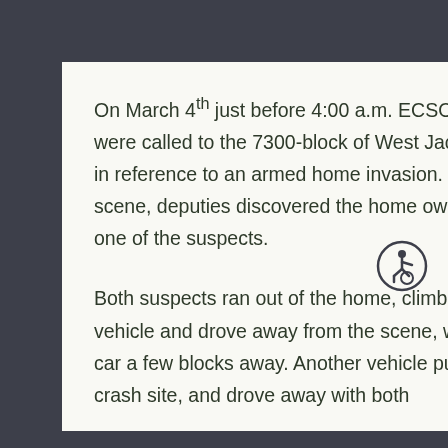On March 4th just before 4:00 a.m. ECSO deputies were called to the 7300-block of West Jackson Street in reference to an armed home invasion. Once on scene, deputies discovered the home owner had shot one of the suspects.
Both suspects ran out of the home, climbed inside a vehicle and drove away from the scene, wrecking the car a few blocks away. Another vehicle pulled up to the crash site, and drove away with both
[Figure (illustration): Accessibility icon — circular badge with a stylized wheelchair user figure]